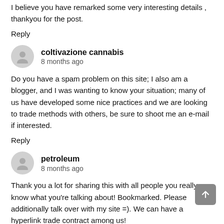I believe you have remarked some very interesting details , thankyou for the post.
Reply
coltivazione cannabis
8 months ago
Do you have a spam problem on this site; I also am a blogger, and I was wanting to know your situation; many of us have developed some nice practices and we are looking to trade methods with others, be sure to shoot me an e-mail if interested.
Reply
petroleum
8 months ago
Thank you a lot for sharing this with all people you really know what you're talking about! Bookmarked. Please additionally talk over with my site =). We can have a hyperlink trade contract among us!
Reply